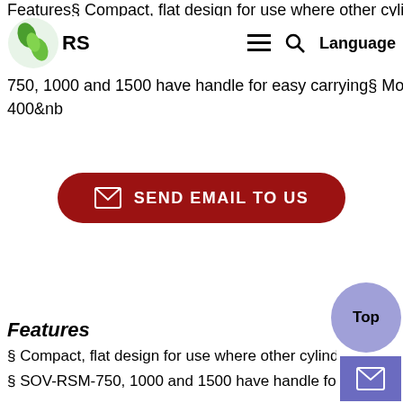Features§ Compact, flat design for use where other cylinders w
RS [logo] ≡ 🔍 Language
750, 1000 and 1500 have handle for easy carrying§ Mounting h 400&nb
[Figure (other): Send Email To Us button — rounded red rectangle with envelope icon and bold white text]
Features
§ Compact, flat design for use where other cylinders will no
§ SOV-RSM-750, 1000 and 1500 have handle for easy carrying